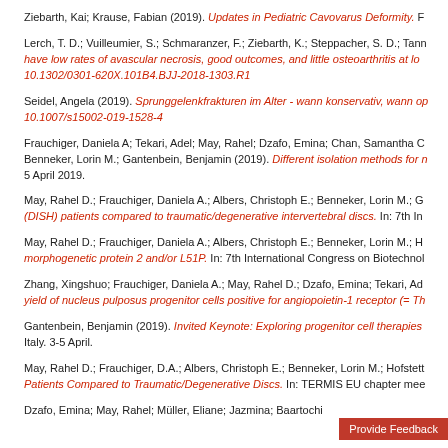Ziebarth, Kai; Krause, Fabian (2019). Updates in Pediatric Cavovarus Deformity. F...
Lerch, T. D.; Vuilleumier, S.; Schmaranzer, F.; Ziebarth, K.; Steppacher, S. D.; Tann... have low rates of avascular necrosis, good outcomes, and little osteoarthritis at lo... 10.1302/0301-620X.101B4.BJJ-2018-1303.R1
Seidel, Angela (2019). Sprunggelenkfrakturen im Alter - wann konservativ, wann op... 10.1007/s15002-019-1528-4
Frauchiger, Daniela A; Tekari, Adel; May, Rahel; Dzafo, Emina; Chan, Samantha C... Benneker, Lorin M.; Gantenbein, Benjamin (2019). Different isolation methods for n... 5 April 2019.
May, Rahel D.; Frauchiger, Daniela A.; Albers, Christoph E.; Benneker, Lorin M.; G... (DISH) patients compared to traumatic/degenerative intervertebral discs. In: 7th In...
May, Rahel D.; Frauchiger, Daniela A.; Albers, Christoph E.; Benneker, Lorin M.; H... morphogenetic protein 2 and/or L51P. In: 7th International Congress on Biotechnol...
Zhang, Xingshuo; Frauchiger, Daniela A.; May, Rahel D.; Dzafo, Emina; Tekari, Ad... yield of nucleus pulposus progenitor cells positive for angiopoietin-1 receptor (= Th...
Gantenbein, Benjamin (2019). Invited Keynote: Exploring progenitor cell therapies... Italy. 3-5 April.
May, Rahel D.; Frauchiger, D.A.; Albers, Christoph E.; Benneker, Lorin M.; Hofstett... Patients Compared to Traumatic/Degenerative Discs. In: TERMIS EU chapter mee...
Dzafo, Emina; May, Rahel; Müller, Eliane; Jazmina; Baartochi...